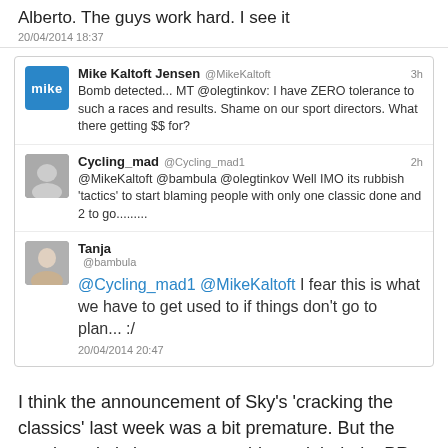Alberto. The guys work hard. I see it
20/04/2014 18:37
Mike Kaltoft Jensen @MikeKaltoft 3h Bomb detected... MT @olegtinkov: I have ZERO tolerance to such a races and results. Shame on our sport directors. What there getting $$ for?
Cycling_mad @Cycling_mad1 2h @MikeKaltoft @bambula @olegtinkov Well IMO its rubbish 'tactics' to start blaming people with only one classic done and 2 to go.........
Tanja @bambula @Cycling_mad1 @MikeKaltoft I fear this is what we have to get used to if things don't go to plan... :/ 20/04/2014 20:47
I think the announcement of Sky's 'cracking the classics' last week was a bit premature. But the overly optimistic – some would say deluded – PR spin on the race was priceless.